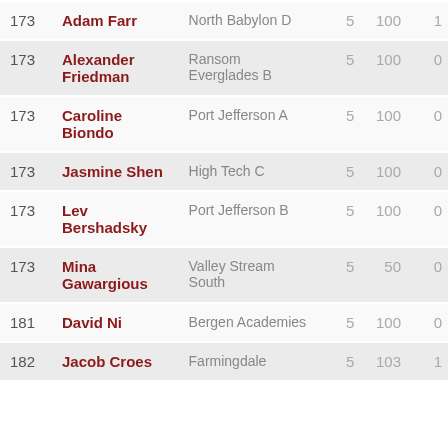| Rank | Name | School | Col1 | Col2 | Col3 |
| --- | --- | --- | --- | --- | --- |
| 173 | Adam Farr | North Babylon D | 5 | 100 | 1 |
| 173 | Alexander Friedman | Ransom Everglades B | 5 | 100 | 0 |
| 173 | Caroline Biondo | Port Jefferson A | 5 | 100 | 0 |
| 173 | Jasmine Shen | High Tech C | 5 | 100 | 0 |
| 173 | Lev Bershadsky | Port Jefferson B | 5 | 100 | 0 |
| 173 | Mina Gawargious | Valley Stream South | 5 | 50 | 0 |
| 181 | David Ni | Bergen Academies | 5 | 100 | 0 |
| 182 | Jacob Croes | Farmingdale | 5 | 103 | 1 |